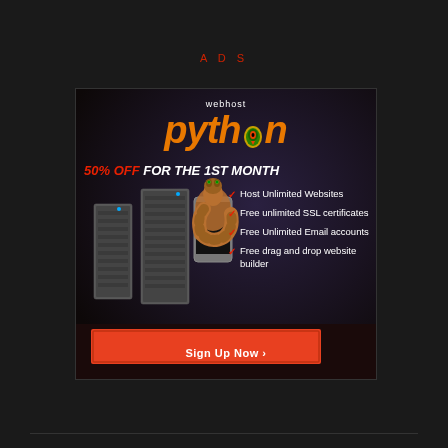ADS
[Figure (infographic): Webhost Python advertisement banner with dark background showing server racks, a snake, and a mobile phone. Text: 'webhost python - 50% OFF FOR THE 1ST MONTH'. Features: Host Unlimited Websites, Free unlimited SSL certificates, Free Unlimited Email accounts, Free drag and drop website builder. Sign Up Now button.]